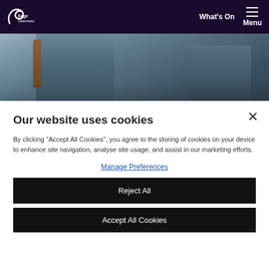[Figure (screenshot): Sage Gateshead website navigation bar with logo on the left, 'What's On' and hamburger Menu on the right, on dark purple background]
[Figure (photo): Photo of people wearing denim jackets, partially visible]
Our website uses cookies
By clicking "Accept All Cookies", you agree to the storing of cookies on your device to enhance site navigation, analyse site usage, and assist in our marketing efforts.
Manage Preferences
Reject All
Accept All Cookies